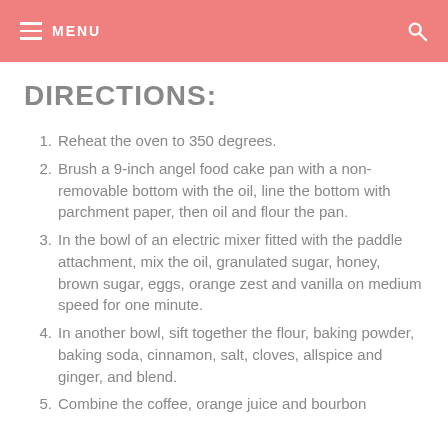MENU
DIRECTIONS:
Reheat the oven to 350 degrees.
Brush a 9-inch angel food cake pan with a non-removable bottom with the oil, line the bottom with parchment paper, then oil and flour the pan.
In the bowl of an electric mixer fitted with the paddle attachment, mix the oil, granulated sugar, honey, brown sugar, eggs, orange zest and vanilla on medium speed for one minute.
In another bowl, sift together the flour, baking powder, baking soda, cinnamon, salt, cloves, allspice and ginger, and blend.
Combine the coffee, orange juice and bourbon